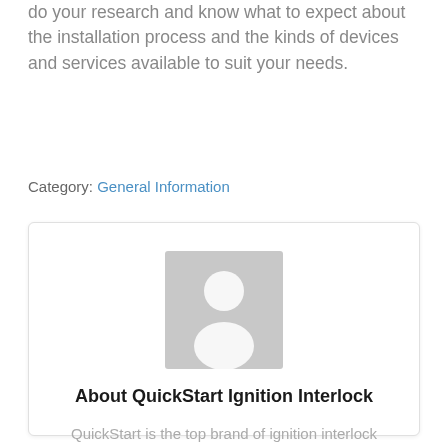do your research and know what to expect about the installation process and the kinds of devices and services available to suit your needs.
Category: General Information
[Figure (illustration): Generic user avatar placeholder image — grey rectangle with a white silhouette of a person (head circle and shoulders)]
About QuickStart Ignition Interlock
QuickStart is the top brand of ignition interlock devices and car breathalyzers in Arizona.